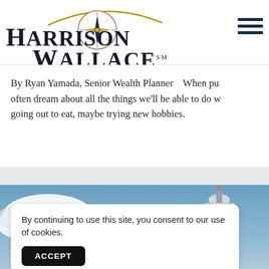[Figure (logo): Harrison Wallace financial firm logo with compass rose and arched swoosh above the text]
By Ryan Yamada, Senior Wealth Planner    When pu- often dream about all the things we'll be able to do w- going out to eat, maybe trying new hobbies.
[Figure (photo): Photograph of a building with a statue on top against a cloudy blue sky]
By continuing to use this site, you consent to our use of cookies.
ACCEPT